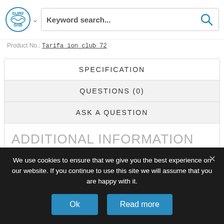[Figure (logo): Surf SnB logo with wave graphic]
Keyword search...
Product No.: Tarifa_ion_club_72
SPECIFICATION
QUESTIONS (0)
ASK A QUESTION
ADDITIONAL INFORMATION
We use cookies to ensure that we give you the best experience on our website. If you continue to use this site we will assume that you are happy with it.